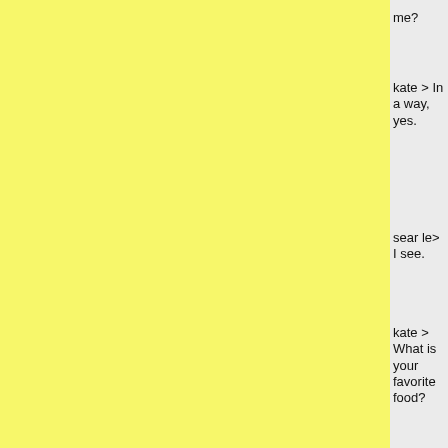me?
kate > In a way, yes.
searle> I see.
kate > What is your favorite food?